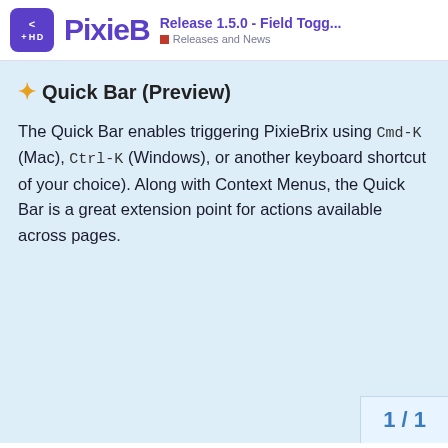PixieB — Release 1.5.0 - Field Togg... | Releases and News
✦ Quick Bar (Preview)
The Quick Bar enables triggering PixieBrix using Cmd-K (Mac), Ctrl-K (Windows), or another keyboard shortcut of your choice). Along with Context Menus, the Quick Bar is a great extension point for actions available across pages.
1 / 1